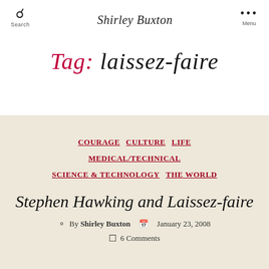Shirley Buxton
Tag: laissez-faire
COURAGE  CULTURE  LIFE  MEDICAL/TECHNICAL  SCIENCE & TECHNOLOGY  THE WORLD
Stephen Hawking and Laissez-faire
By Shirley Buxton  January 23, 2008  6 Comments